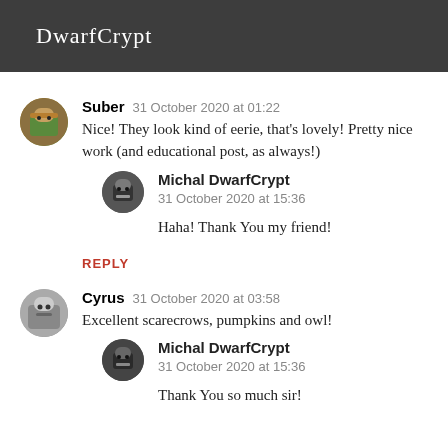DwarfCrypt
Suber  31 October 2020 at 01:22
Nice! They look kind of eerie, that's lovely! Pretty nice work (and educational post, as always!)
Michal DwarfCrypt  31 October 2020 at 15:36
Haha! Thank You my friend!
REPLY
Cyrus  31 October 2020 at 03:58
Excellent scarecrows, pumpkins and owl!
Michal DwarfCrypt  31 October 2020 at 15:36
Thank You so much sir!